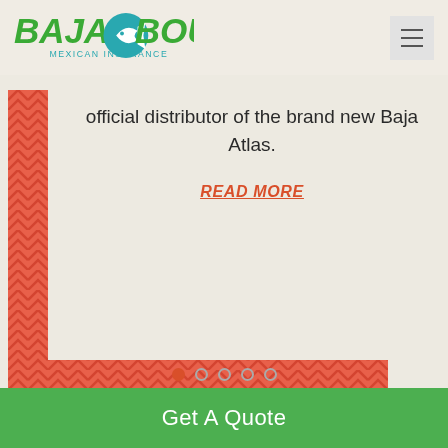[Figure (logo): Baja Bound Mexican Insurance logo with green bold text and teal fish/wave icon]
[Figure (illustration): Decorative L-shaped bracket made of coral/orange chevron/zigzag pattern forming left vertical bar and bottom horizontal bar, framing slide content area]
official distributor of the brand new Baja Atlas.
READ MORE
[Figure (infographic): Carousel navigation dots: 5 dots, first one filled in coral/red indicating active slide]
Get A Quote